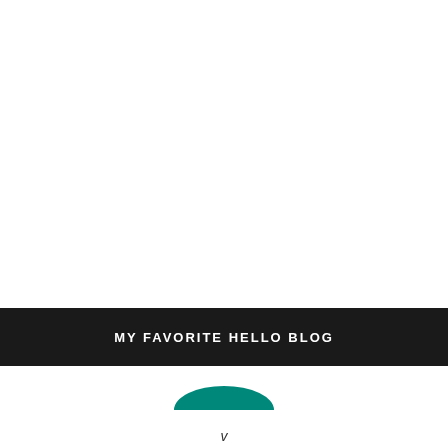MY FAVORITE HELLO BLOG
[Figure (illustration): Teal semicircle/arc shape below the banner, suggesting a decorative element or logo component]
v